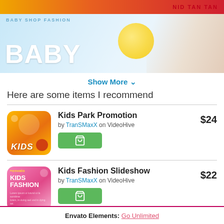[Figure (screenshot): Top orange/red banner with white text on right side]
[Figure (screenshot): Baby Shop Fashion banner with large BABY text and baby face image on right]
Show More ▾
Here are some items I recommend
Kids Park Promotion by TranSMaxX on VideoHive $24
Kids Fashion Slideshow by TranSMaxX on VideoHive $22
Envato Elements: Go Unlimited